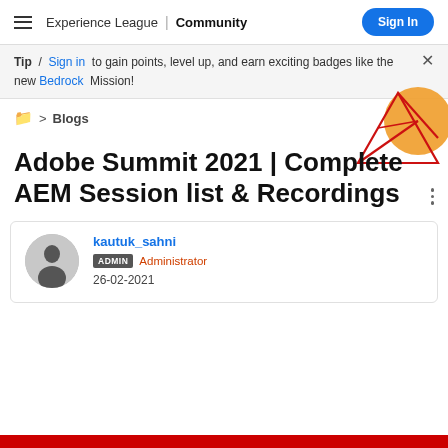Experience League | Community  Sign In
Tip / Sign in to gain points, level up, and earn exciting badges like the new Bedrock Mission!
> Blogs
Adobe Summit 2021 | Complete AEM Session list & Recordings
kautuk_sahni
ADMIN Administrator
26-02-2021